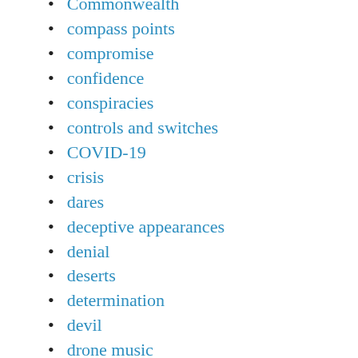Commonwealth
compass points
compromise
confidence
conspiracies
controls and switches
COVID-19
crisis
dares
deceptive appearances
denial
deserts
determination
devil
drone music
drumming